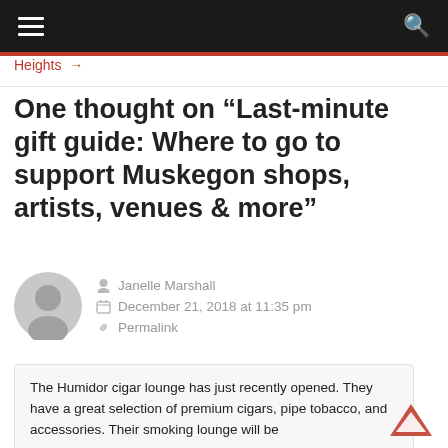≡   Q
Heights →
One thought on “Last-minute gift guide: Where to go to support Muskegon shops, artists, venues & more”
Janelle Marshall
December 21, 2018 at 11:35 pm
Permalink
The Humidor cigar lounge has just recently opened. They have a great selection of premium cigars, pipe tobacco, and accessories. Their smoking lounge will be open after the first of the year at the Melded building…